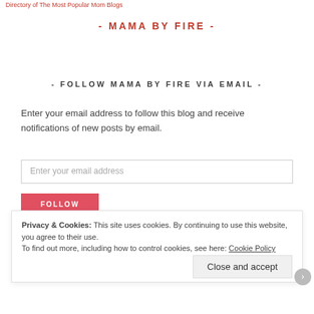Directory of The Most Popular Mom Blogs
- MAMA BY FIRE -
- FOLLOW MAMA BY FIRE VIA EMAIL -
Enter your email address to follow this blog and receive notifications of new posts by email.
Enter your email address
FOLLOW
Privacy & Cookies: This site uses cookies. By continuing to use this website, you agree to their use.
To find out more, including how to control cookies, see here: Cookie Policy
Close and accept